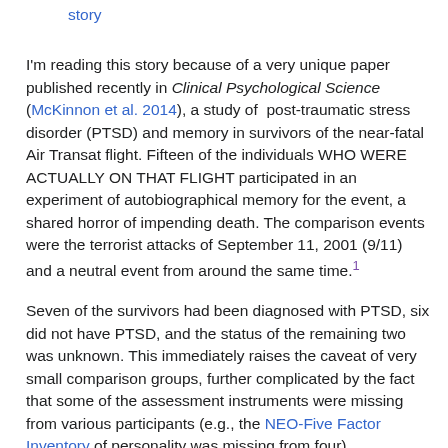story
I'm reading this story because of a very unique paper published recently in Clinical Psychological Science (McKinnon et al. 2014), a study of post-traumatic stress disorder (PTSD) and memory in survivors of the near-fatal Air Transat flight. Fifteen of the individuals WHO WERE ACTUALLY ON THAT FLIGHT participated in an experiment of autobiographical memory for the event, a shared horror of impending death. The comparison events were the terrorist attacks of September 11, 2001 (9/11) and a neutral event from around the same time.¹
Seven of the survivors had been diagnosed with PTSD, six did not have PTSD, and the status of the remaining two was unknown. This immediately raises the caveat of very small comparison groups, further complicated by the fact that some of the assessment instruments were missing from various participants (e.g., the NEO-Five Factor Inventory of personality was missing from four).